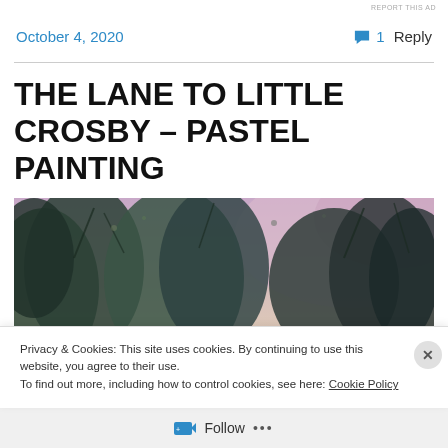REPORT THIS AD
October 4, 2020
1 Reply
THE LANE TO LITTLE CROSBY – PASTEL PAINTING
[Figure (photo): Pastel painting of a lane with large trees against a purple-pink sky, showing the lane to Little Crosby]
Privacy & Cookies: This site uses cookies. By continuing to use this website, you agree to their use.
To find out more, including how to control cookies, see here: Cookie Policy
Close and accept
Follow